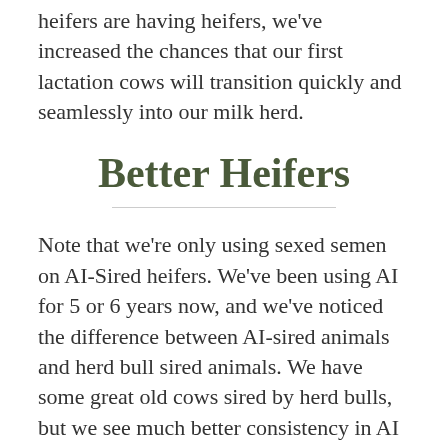heifers are having heifers, we've increased the chances that our first lactation cows will transition quickly and seamlessly into our milk herd.
Better Heifers
Note that we're only using sexed semen on AI-Sired heifers. We've been using AI for 5 or 6 years now, and we've noticed the difference between AI-sired animals and herd bull sired animals. We have some great old cows sired by herd bulls, but we see much better consistency in AI cows. To more quickly improve our herd genetics and increase the percentage of cows in our